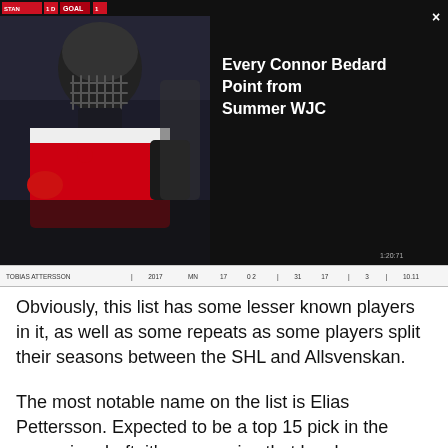[Figure (screenshot): Video thumbnail showing a hockey player in a helmet with a facemask, wearing a white and red jersey, against a dark background. A scoreboard bar is visible at the top showing a GOAL indicator. The right side of the thumbnail has a dark background with white text reading 'Every Connor Bedard Point from Summer WJC' and a close button (×) in the top right corner.]
| TOBIAS ATTERSSON | 2017 | MN | 17 | 0 2 | 31 | 17 | 3 | 10.11 |
| --- | --- | --- | --- | --- | --- | --- | --- | --- |
Obviously, this list has some lesser known players in it, as well as some repeats as some players split their seasons between the SHL and Allsvenskan.
The most notable name on the list is Elias Pettersson. Expected to be a top 15 pick in the upcoming draft, it's no surprise that he shows up here. His point production was so high that there are no pGPS matches.
All we need to know is that there is no